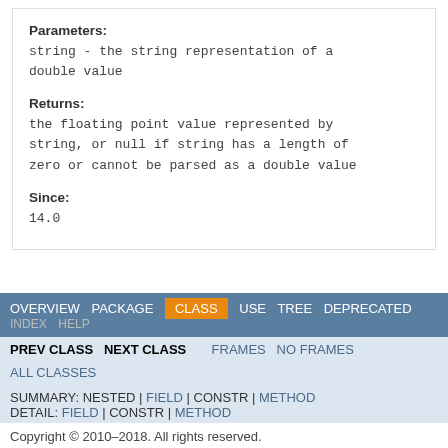Parameters:
string - the string representation of a double value
Returns:
the floating point value represented by string, or null if string has a length of zero or cannot be parsed as a double value
Since:
14.0
OVERVIEW   PACKAGE   CLASS   USE   TREE   DEPRECATED   INDEX   HELP   PREV CLASS   NEXT CLASS   FRAMES   NO FRAMES   ALL CLASSES   SUMMARY: NESTED | FIELD | CONSTR | METHOD   DETAIL: FIELD | CONSTR | METHOD   Copyright © 2010-2018. All rights reserved.